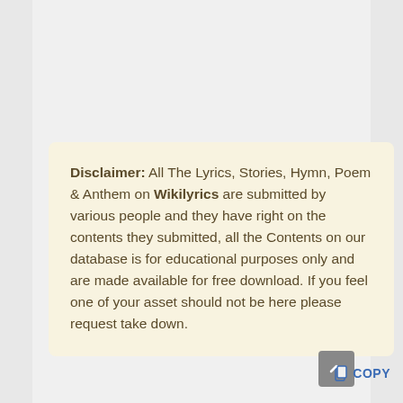Disclaimer: All The Lyrics, Stories, Hymn, Poem & Anthem on Wikilyrics are submitted by various people and they have right on the contents they submitted, all the Contents on our database is for educational purposes only and are made available for free download. If you feel one of your asset should not be here please request take down.